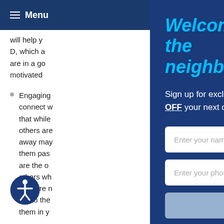≡ Menu
will help y... D, which a... are in a go... motivated...
Engaging... connect w... that while... others are... away may... them pas... are the o... others wh... they are r... out to the... them in y...
Welcome to the neighborhood.
Sign up for exclusive offers and content and recieve 5% OFF your next order.
Enter your name
Enter your phone number